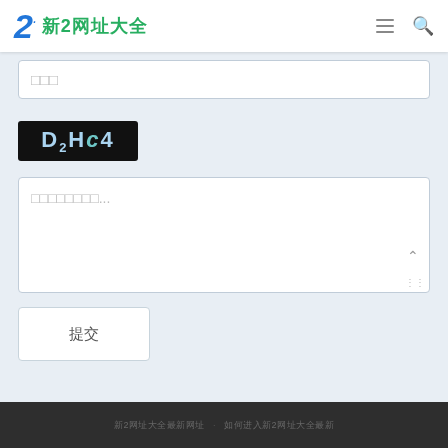2 新2网址大全
□□□
[Figure (screenshot): CAPTCHA image showing 'D2HC4' in stylized text on black background]
□□□□□□□□...
提交
新2网址大全最新网址  如何进入新2网址大全最新